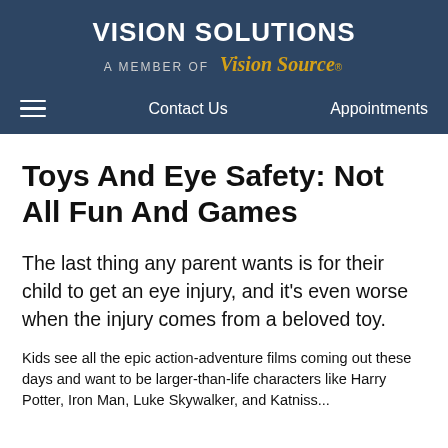VISION SOLUTIONS
A MEMBER OF Vision Source
Contact Us    Appointments
Toys And Eye Safety: Not All Fun And Games
The last thing any parent wants is for their child to get an eye injury, and it's even worse when the injury comes from a beloved toy.
Kids see all the epic action-adventure films coming out these days and want to be larger-than-life characters like...